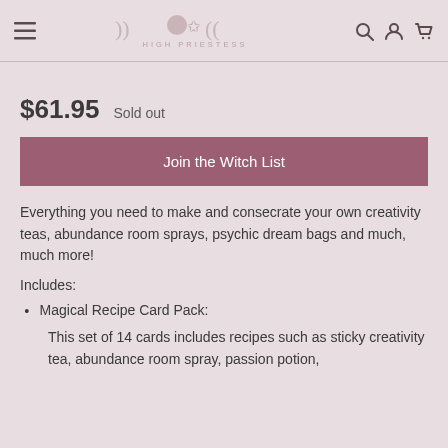HIGH PRIESTESS
$61.95  Sold out
Join the Witch List
Everything you need to make and consecrate your own creativity teas, abundance room sprays, psychic dream bags and much, much more!
Includes:
Magical Recipe Card Pack:
This set of 14 cards includes recipes such as sticky creativity tea, abundance room spray, passion potion,